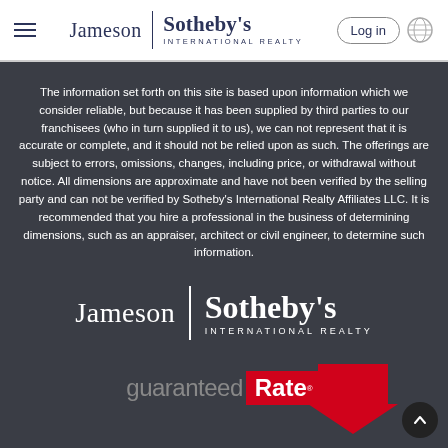Jameson | Sotheby's INTERNATIONAL REALTY   Log in
The information set forth on this site is based upon information which we consider reliable, but because it has been supplied by third parties to our franchisees (who in turn supplied it to us), we can not represent that it is accurate or complete, and it should not be relied upon as such. The offerings are subject to errors, omissions, changes, including price, or withdrawal without notice. All dimensions are approximate and have not been verified by the selling party and can not be verified by Sotheby's International Realty Affiliates LLC. It is recommended that you hire a professional in the business of determining dimensions, such as an appraiser, architect or civil engineer, to determine such information.
[Figure (logo): Jameson | Sotheby's INTERNATIONAL REALTY logo in white on dark background]
[Figure (logo): guaranteed Rate logo with red Rate box and red downward arrow on dark background]